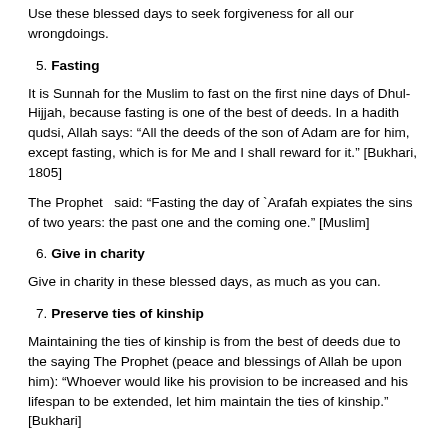Use these blessed days to seek forgiveness for all our wrongdoings.
5. Fasting
It is Sunnah for the Muslim to fast on the first nine days of Dhul-Hijjah, because fasting is one of the best of deeds. In a hadith qudsi, Allah says: “All the deeds of the son of Adam are for him, except fasting, which is for Me and I shall reward for it.” [Bukhari, 1805]
The Prophet  said: “Fasting the day of `Arafah expiates the sins of two years: the past one and the coming one.” [Muslim]
6. Give in charity
Give in charity in these blessed days, as much as you can.
7. Preserve ties of kinship
Maintaining the ties of kinship is from the best of deeds due to the saying The Prophet (peace and blessings of Allah be upon him): “Whoever would like his provision to be increased and his lifespan to be extended, let him maintain the ties of kinship.” [Bukhari]